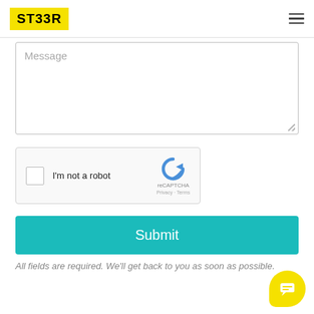[Figure (logo): ST33R logo in yellow background with bold black text]
[Figure (screenshot): Message textarea input field with placeholder text 'Message']
[Figure (screenshot): reCAPTCHA widget with checkbox 'I'm not a robot' and Google reCAPTCHA logo with Privacy and Terms links]
[Figure (screenshot): Teal Submit button]
All fields are required. We'll get back to you as soon as possible.
[Figure (illustration): Yellow chat bubble icon in bottom right corner]